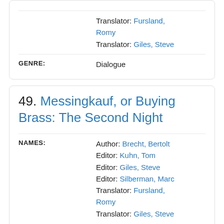| Field | Value |
| --- | --- |
| TRANSLATOR | Fursland, Romy |
| TRANSLATOR | Giles, Steve |
| GENRE | Dialogue |
49. Messingkauf, or Buying Brass: The Second Night
| Field | Value |
| --- | --- |
| NAMES | Author: Brecht, Bertolt |
|  | Editor: Kuhn, Tom |
|  | Editor: Giles, Steve |
|  | Editor: Silberman, Marc |
|  | Translator: Fursland, Romy |
|  | Translator: Giles, Steve |